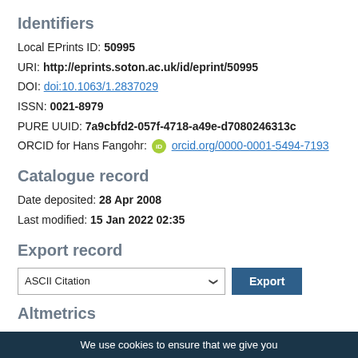Identifiers
Local EPrints ID: 50995
URI: http://eprints.soton.ac.uk/id/eprint/50995
DOI: doi:10.1063/1.2837029
ISSN: 0021-8979
PURE UUID: 7a9cbfd2-057f-4718-a49e-d7080246313c
ORCID for Hans Fangohr: orcid.org/0000-0001-5494-7193
Catalogue record
Date deposited: 28 Apr 2008
Last modified: 15 Jan 2022 02:35
Export record
ASCII Citation [Export]
Altmetrics
We use cookies to ensure that we give you